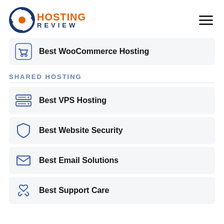[Figure (logo): Hosting Review logo with circular arrow icon in blue/orange and text HOSTING REVIEW]
Best WooCommerce Hosting
SHARED HOSTING
Best VPS Hosting
Best Website Security
Best Email Solutions
Best Support Care